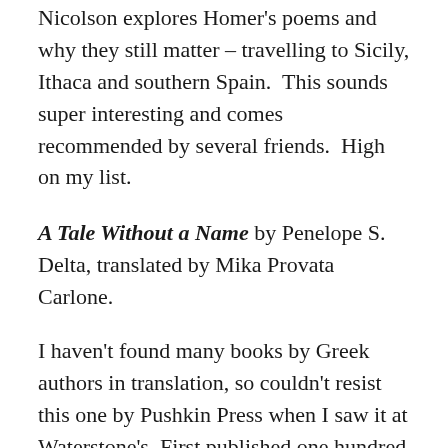Nicolson explores Homer's poems and why they still matter – travelling to Sicily, Ithaca and southern Spain.  This sounds super interesting and comes recommended by several friends.  High on my list.
A Tale Without a Name by Penelope S. Delta, translated by Mika Provata Carlone.
I haven't found many books by Greek authors in translation, so couldn't resist this one by Pushkin Press when I saw it at Waterstone's. First published one hundred years ago, described as a fable and 'one of Greece's best-loved stories'. I'm intrigued.
It looks like I'll have to return to Greece to read